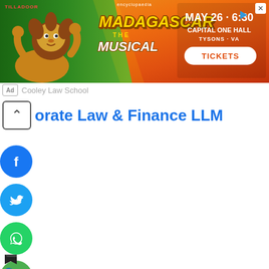[Figure (photo): Madagascar The Musical advertisement banner with jungle/orange background, lion character on left, Madagascar title text in center, event details (MAY 26 · 6:30, CAPITAL ONE HALL, TYSONS - VA, TICKETS) on right, TILLADOOR text top-left, Encyclopaedia logo top-center, X close button top-right]
Ad  Cooley Law School
orate Law & Finance LLM
[Figure (infographic): Facebook share button - blue circle with white F icon]
[Figure (infographic): Twitter share button - blue circle with white bird icon]
[Figure (infographic): WhatsApp share button - green circle with white phone icon]
[Figure (infographic): Email share button - green circle with white envelope icon]
[Figure (infographic): Black bookmark/flag icon]